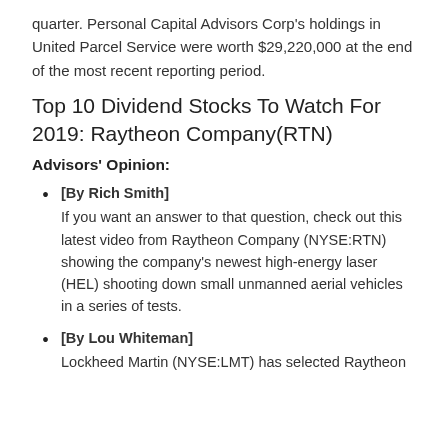quarter. Personal Capital Advisors Corp's holdings in United Parcel Service were worth $29,220,000 at the end of the most recent reporting period.
Top 10 Dividend Stocks To Watch For 2019: Raytheon Company(RTN)
Advisors' Opinion:
[By Rich Smith] If you want an answer to that question, check out this latest video from Raytheon Company (NYSE:RTN) showing the company's newest high-energy laser (HEL) shooting down small unmanned aerial vehicles in a series of tests.
[By Lou Whiteman] Lockheed Martin (NYSE:LMT) has selected Raytheon